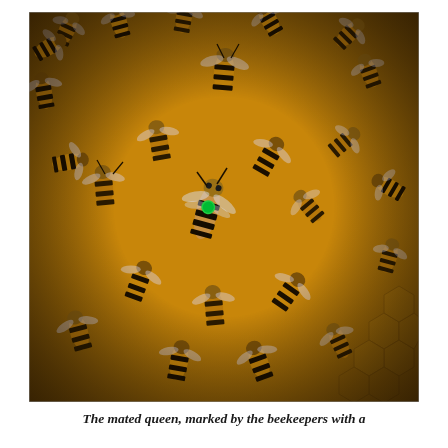[Figure (photo): Close-up photograph of a honeybee colony on honeycomb. Many worker bees are visible covering the comb. In the center is the mated queen bee, identifiable by a green dot marked on her thorax by beekeepers. The bees are golden-brown with dark stripes, and the honeycomb is an amber-orange color.]
The mated queen, marked by the beekeepers with a